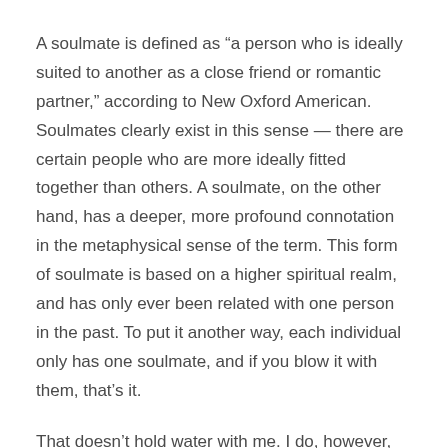A soulmate is defined as “a person who is ideally suited to another as a close friend or romantic partner,” according to New Oxford American. Soulmates clearly exist in this sense — there are certain people who are more ideally fitted together than others. A soulmate, on the other hand, has a deeper, more profound connotation in the metaphysical sense of the term. This form of soulmate is based on a higher spiritual realm, and has only ever been related with one person in the past. To put it another way, each individual only has one soulmate, and if you blow it with them, that’s it.
That doesn’t hold water with me. I do, however, believe in soulmates in the dictionary sense — that is, some